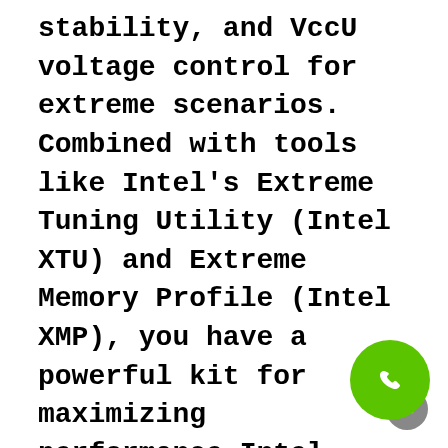stability, and VccU voltage control for extreme scenarios. Combined with tools like Intel's Extreme Tuning Utility (Intel XTU) and Extreme Memory Profile (Intel XMP), you have a powerful kit for maximizing performance.Intel Smart CacheImprove efficiency with Intel Smart Cache technology. All cores now have access to the entire last-level cache, pre-fetching data before requests are made. Intel Smart Cache also features a new power-saving feature that dynamically flushes memory based on demand or during periods of inactivity, ensuring your applications keep up with your demands.Intel Turbo Boost Max Technology 3.0Increase your computer processing power. Available on Intel Core X- processors. Intel Turbo Boost Max Technology 3.0